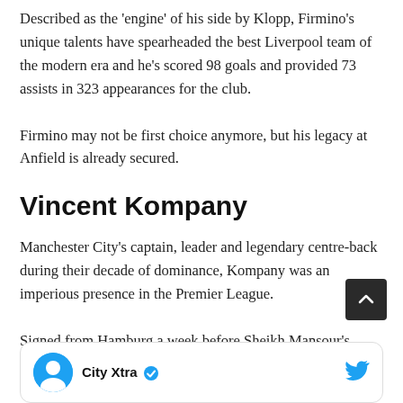Described as the 'engine' of his side by Klopp, Firmino's unique talents have spearheaded the best Liverpool team of the modern era and he's scored 98 goals and provided 73 assists in 323 appearances for the club.
Firmino may not be first choice anymore, but his legacy at Anfield is already secured.
Vincent Kompany
Manchester City's captain, leader and legendary centre-back during their decade of dominance, Kompany was an imperious presence in the Premier League.
Signed from Hamburg a week before Sheikh Mansour's takeover, the Belgium international played 360 times for City and won every domestic honour going.
No wonder they've built a statue of him outside the Etihad.
[Figure (other): City Xtra Twitter card with profile avatar and Twitter bird icon]